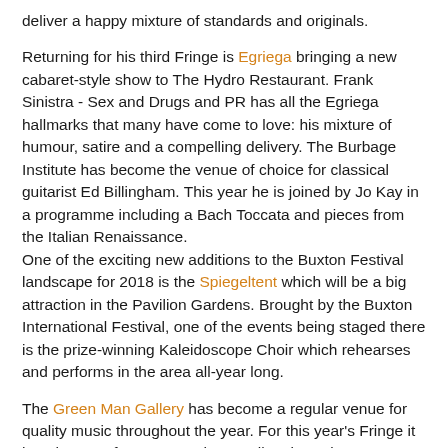deliver a happy mixture of standards and originals.
Returning for his third Fringe is Egriega bringing a new cabaret-style show to The Hydro Restaurant. Frank Sinistra - Sex and Drugs and PR has all the Egriega hallmarks that many have come to love: his mixture of humour, satire and a compelling delivery. The Burbage Institute has become the venue of choice for classical guitarist Ed Billingham. This year he is joined by Jo Kay in a programme including a Bach Toccata and pieces from the Italian Renaissance.
One of the exciting new additions to the Buxton Festival landscape for 2018 is the Spiegeltent which will be a big attraction in the Pavilion Gardens. Brought by the Buxton International Festival, one of the events being staged there is the prize-winning Kaleidoscope Choir which rehearses and performs in the area all-year long.
The Green Man Gallery has become a regular venue for quality music throughout the year. For this year's Fringe it has three performances. The excellent jazz singer Annette Gregory returns with her band to present some of the best-loved songs by the likes of Julie London and Sarah